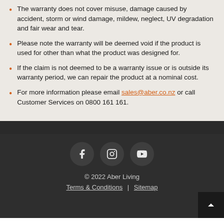The warranty does not cover misuse, damage caused by accident, storm or wind damage, mildew, neglect, UV degradation and fair wear and tear.
Please note the warranty will be deemed void if the product is used for other than what the product was designed for.
If the claim is not deemed to be a warranty issue or is outside its warranty period, we can repair the product at a nominal cost.
For more information please email sales@aber.co.nz or call Customer Services on 0800 161 161.
[Figure (illustration): Social media icons: Facebook, Instagram, YouTube — white icons on dark circular backgrounds]
© 2022 Aber Living
Terms & Conditions | Sitemap